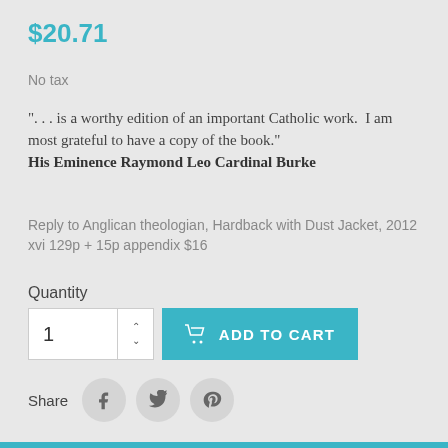$20.71
No tax
". . . is a worthy edition of an important Catholic work.  I am most grateful to have a copy of the book." His Eminence Raymond Leo Cardinal Burke
Reply to Anglican theologian, Hardback with Dust Jacket, 2012 xvi 129p + 15p appendix $16
Quantity
[Figure (screenshot): Quantity input box showing value 1 with up/down arrows, and a teal ADD TO CART button with shopping cart icon]
Share
[Figure (infographic): Social sharing icons: Facebook, Twitter, Pinterest in grey circles]